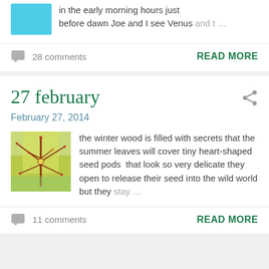in the early morning hours just before dawn Joe and I see Venus and t ...
28 comments
READ MORE
27 february
February 27, 2014
[Figure (photo): Close-up photo of winter wood branches with small seed pods, colorful yellow-green and red tones]
the winter wood is filled with secrets that the summer leaves will cover tiny heart-shaped seed pods  that look so very delicate they open to release their seed into the wild world but they stay ...
11 comments
READ MORE